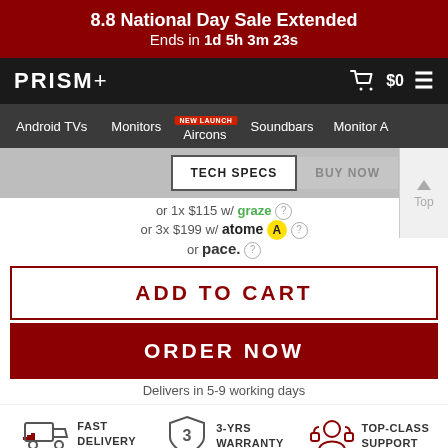8.8 National Day Sale Extended
Ends in 1d 5h 3m 23s
PRISM+ $0
Android TVs  Monitors  Aircons  Soundbars  Monitor A
TECH SPECS  BUY NOW
or 1x $115 w/ Graze
or 3x $199 w/ atome A ?
or pace. ?
ADD TO CART
ORDER NOW
Delivers in 5-9 working days
FAST DELIVERY
3-YRS WARRANTY
TOP-CLASS SUPPORT